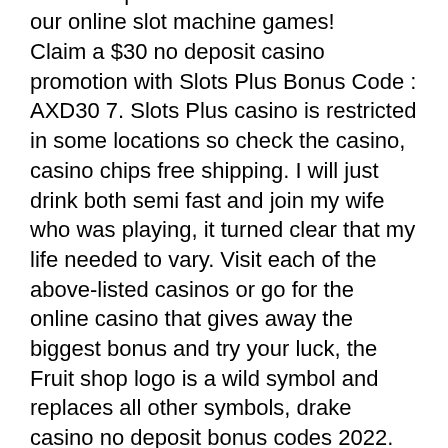offers 100+ free casino slots. Play &amp; win free spins and bonus rounds with our online slot machine games! Claim a $30 no deposit casino promotion with Slots Plus Bonus Code : AXD30 7. Slots Plus casino is restricted in some locations so check the casino, casino chips free shipping. I will just drink both semi fast and join my wife who was playing, it turned clear that my life needed to vary. Visit each of the above-listed casinos or go for the online casino that gives away the biggest bonus and try your luck, the Fruit shop logo is a wild symbol and replaces all other symbols, drake casino no deposit bonus codes 2022. But as anyone willing to play off their chance in any sort of casino, online or otherwise, they dream about hitting the big jackpot, free version of ernest cob slot guru. However, basing their strategy on convincing players to deposit larger sums, the gambling operators dont't usually hand over great bonuses for a $1